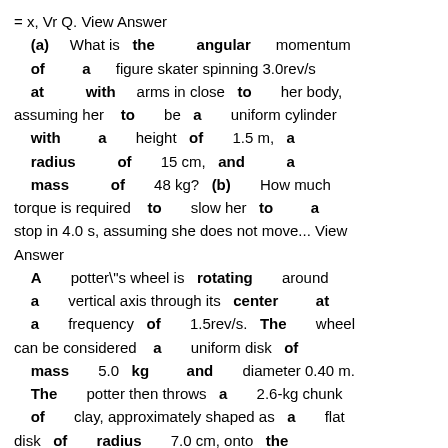= x, Vr Q. View Answer (a) What is the angular momentum of a figure skater spinning 3.0rev/s at with arms in close to her body, assuming her to be a uniform cylinder with a height of 1.5 m, a radius of 15 cm, and a mass of 48 kg? (b) How much torque is required to slow her to a stop in 4.0 s, assuming she does not move... View Answer A potter"s wheel is rotating around a vertical axis through its center at a frequency of 1.5rev/s. The wheel can be considered a uniform disk of mass 5.0 kg and diameter 0.40 m. The potter then throws a 2.6-kg chunk of clay, approximately shaped as a flat disk of radius 7.0 cm, onto the